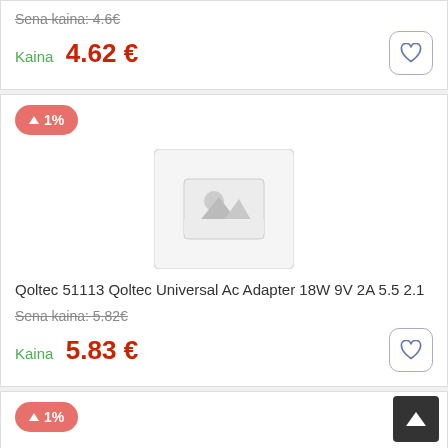Sena kaina: 4.6€
Kaina  4.62 €
[Figure (other): Price up badge showing +1%]
[Figure (other): Product image placeholder (no image available)]
Qoltec 51113 Qoltec Universal Ac Adapter 18W 9V 2A 5.5 2.1
Sena kaina: 5.82€
Kaina  5.83 €
[Figure (other): Price up badge showing +1%]